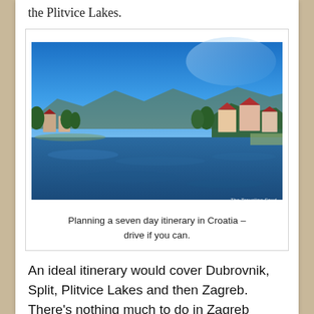the Plitvice Lakes.
[Figure (photo): A scenic river or lake view in Croatia with buildings featuring red roofs along the shoreline, green trees, mountains in the background, and a clear blue sky. Watermark reads 'The Traveling Spud'.]
Planning a seven day itinerary in Croatia – drive if you can.
An ideal itinerary would cover Dubrovnik, Split, Plitvice Lakes and then Zagreb. There's nothing much to do in Zagreb except to enjoy its cafe culture, therefore I wouldn't